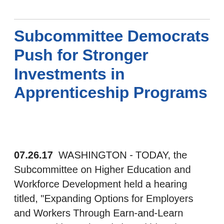Subcommittee Democrats Push for Stronger Investments in Apprenticeship Programs
07.26.17  WASHINGTON - TODAY, the Subcommittee on Higher Education and Workforce Development held a hearing titled, "Expanding Options for Employers and Workers Through Earn-and-Learn Opportunities." There is broad bipartisan support for building a highly skilled workforce through proven models such as registered apprenticeship programs. "Registered